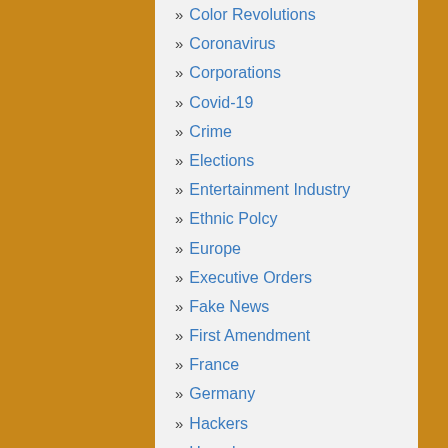» Color Revolutions
» Coronavirus
» Corporations
» Covid-19
» Crime
» Elections
» Entertainment Industry
» Ethnic Polcy
» Europe
» Executive Orders
» Fake News
» First Amendment
» France
» Germany
» Hackers
» Homelessness
» Human Rights
» Immigration
» Internet
» Iran
» Israel